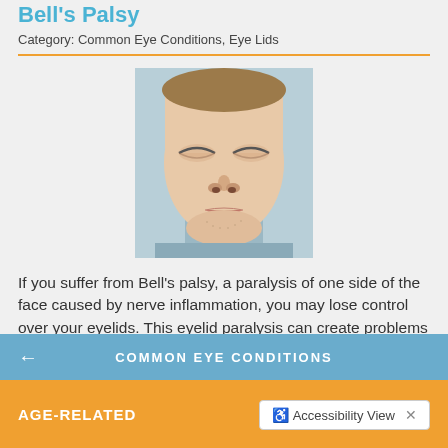Bell's Palsy
Category: Common Eye Conditions, Eye Lids
[Figure (photo): Close-up photo of a man's face with eyes closed, showing Bell's palsy symptoms]
If you suffer from Bell's palsy, a paralysis of one side of the face caused by nerve inflammation, you may lose control over your eyelids. This eyelid paralysis can create problems for the sensitive cornea that protects the eye's lens and helps focus light waves into clear images. Fortunately, an experienced
Read more
COMMON EYE CONDITIONS
AGE-RELATED